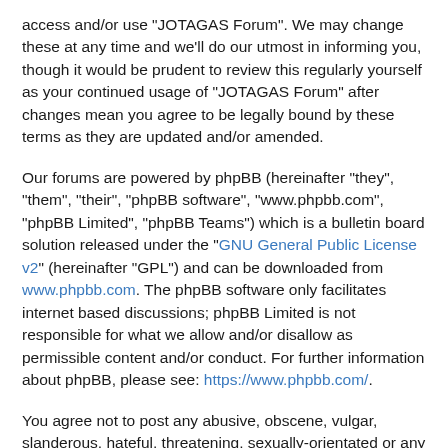access and/or use "JOTAGAS Forum". We may change these at any time and we'll do our utmost in informing you, though it would be prudent to review this regularly yourself as your continued usage of "JOTAGAS Forum" after changes mean you agree to be legally bound by these terms as they are updated and/or amended.
Our forums are powered by phpBB (hereinafter "they", "them", "their", "phpBB software", "www.phpbb.com", "phpBB Limited", "phpBB Teams") which is a bulletin board solution released under the "GNU General Public License v2" (hereinafter "GPL") and can be downloaded from www.phpbb.com. The phpBB software only facilitates internet based discussions; phpBB Limited is not responsible for what we allow and/or disallow as permissible content and/or conduct. For further information about phpBB, please see: https://www.phpbb.com/.
You agree not to post any abusive, obscene, vulgar, slanderous, hateful, threatening, sexually-orientated or any other material that may violate any laws be it of your country, the country where "JOTAGAS Forum" is hosted or International Law. Doing so may lead to you being immediately and permanently banned, with notification of your Internet Service Provider if deemed required by